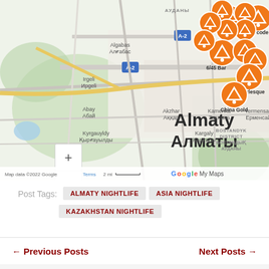[Figure (map): Google My Maps showing Almaty (Алматы), Kazakhstan with orange cocktail/martini glass markers indicating nightlife venues including Barcode, 6/45 Bar, Burlesque, and China Gold. Map shows districts including Almaly District, Bostandyk District, Yermensay area, neighborhoods Algabas, Irgeli, Abay, Akzhar, Kamenka, Kargaly, Kyrgauyldy. Map attribution: Map data ©2022 Google, Terms, 2 mi scale. Zoom +/- controls visible.]
Post Tags: ALMATY NIGHTLIFE  ASIA NIGHTLIFE  KAZAKHSTAN NIGHTLIFE
← Previous Posts
Next Posts →